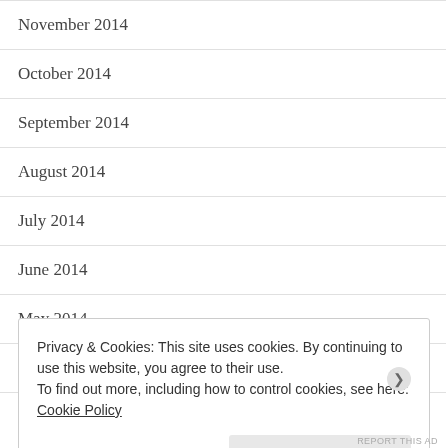November 2014
October 2014
September 2014
August 2014
July 2014
June 2014
May 2014
April 2014
Privacy & Cookies: This site uses cookies. By continuing to use this website, you agree to their use.
To find out more, including how to control cookies, see here:
Cookie Policy
Close and accept
REPORT THIS AD